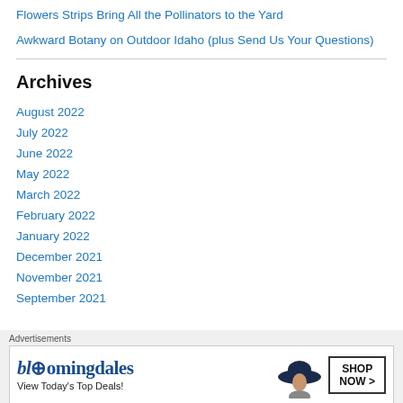Flowers Strips Bring All the Pollinators to the Yard
Awkward Botany on Outdoor Idaho (plus Send Us Your Questions)
Archives
August 2022
July 2022
June 2022
May 2022
March 2022
February 2022
January 2022
December 2021
November 2021
September 2021
Advertisements
[Figure (other): Bloomingdale's advertisement banner with text 'View Today's Top Deals!' and 'SHOP NOW >' button, featuring a woman in a wide-brim hat]